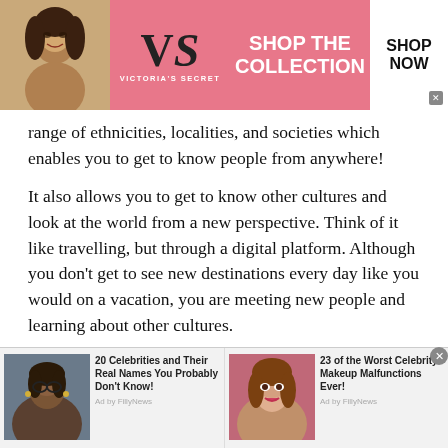[Figure (screenshot): Victoria's Secret advertisement banner with model, VS logo, 'SHOP THE COLLECTION' text, and 'SHOP NOW' button on pink background]
range of ethnicities, localities, and societies which enables you to get to know people from anywhere!
It also allows you to get to know other cultures and look at the world from a new perspective. Think of it like travelling, but through a digital platform. Although you don't get to see new destinations every day like you would on a vacation, you are meeting new people and learning about other cultures.
Build Stronger Social Skills
[Figure (screenshot): Bottom advertisement bar with two ad items: '20 Celebrities and Their Real Names You Probably Don't Know!' with Oprah Winfrey photo, and '23 of the Worst Celebrity Makeup Malfunctions Ever!' with female celebrity photo. Both ads by FillyNews.]